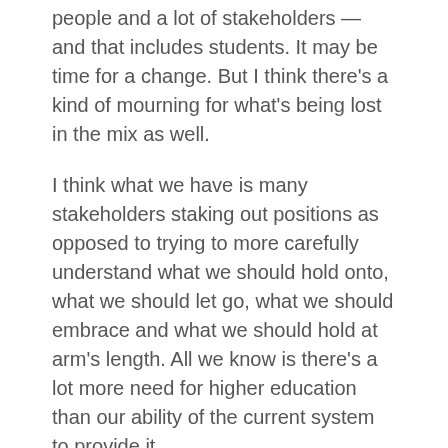people and a lot of stakeholders — and that includes students. It may be time for a change. But I think there's a kind of mourning for what's being lost in the mix as well.
I think what we have is many stakeholders staking out positions as opposed to trying to more carefully understand what we should hold onto, what we should let go, what we should embrace and what we should hold at arm's length. All we know is there's a lot more need for higher education than our ability of the current system to provide it.
I think, at the end of the day, this is mostly a good phenomenon. I think it's pretty exciting. I'm pretty optimistic about what's to come, but change is hard and the transitions are often painful.